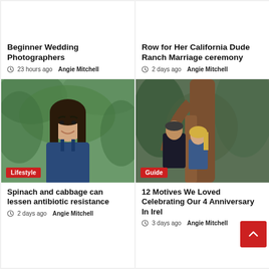Beginner Wedding Photographers
23 hours ago  Angie Mitchell
Row for Her California Dude Ranch Marriage ceremony
2 days ago  Angie Mitchell
[Figure (photo): Young woman with dark hair smiling outdoors in a park/forest setting. Badge reads: Lifestyle]
[Figure (photo): Couple standing near a large tree trunk in a forested outdoor setting. Badge reads: Guide]
Spinach and cabbage can lessen antibiotic resistance
2 days ago  Angie Mitchell
12 Motives We Loved Celebrating Our 4  Anniversary In Irel
3 days ago  Angie Mitchell